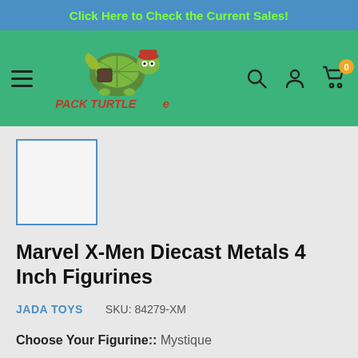Click Here to Check the Current Sales!
[Figure (logo): Pack Turtle e-commerce logo with turtle mascot illustration and stylized text 'PACK TURTLE e']
Marvel X-Men Diecast Metals 4 Inch Figurines
JADA TOYS    SKU: 84279-XM
Choose Your Figurine:: Mystique